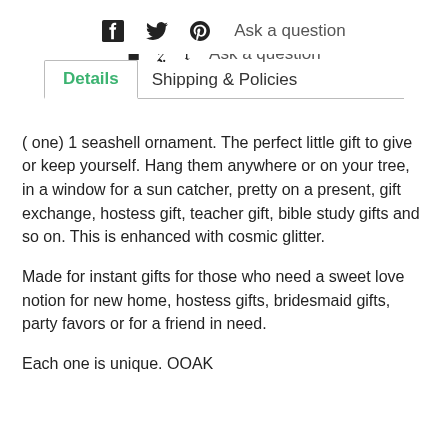f  y  p  Ask a question
Details   Shipping & Policies
( one) 1 seashell ornament. The perfect little gift to give or keep yourself. Hang them anywhere or on your tree, in a window for a sun catcher, pretty on a present, gift exchange, hostess gift, teacher gift, bible study gifts and so on. This is enhanced with cosmic glitter.
Made for instant gifts for those who need a sweet love notion for new home, hostess gifts, bridesmaid gifts, party favors or for a friend in need.
Each one is unique. OOAK